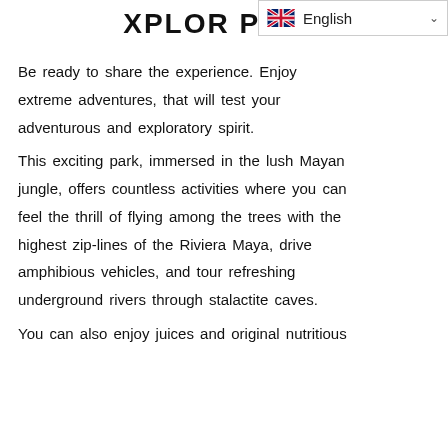English
XPLOR PARK
Be ready to share the experience. Enjoy extreme adventures, that will test your adventurous and exploratory spirit.
This exciting park, immersed in the lush Mayan jungle, offers countless activities where you can feel the thrill of flying among the trees with the highest zip-lines of the Riviera Maya, drive amphibious vehicles, and tour refreshing underground rivers through stalactite caves.
You can also enjoy juices and original nutritious